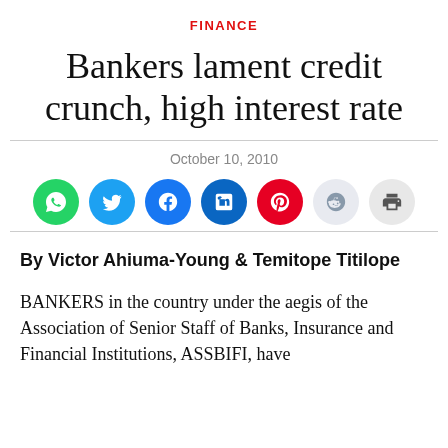FINANCE
Bankers lament credit crunch, high interest rate
October 10, 2010
[Figure (infographic): Row of social share buttons: WhatsApp (green), Twitter (blue), Facebook (blue), LinkedIn (blue), Pinterest (red), Reddit (light blue/grey), Print (grey)]
By Victor Ahiuma-Young & Temitope Titilope
BANKERS in the country under the aegis of the Association of Senior Staff of Banks, Insurance and Financial Institutions, ASSBIFI, have expressed...